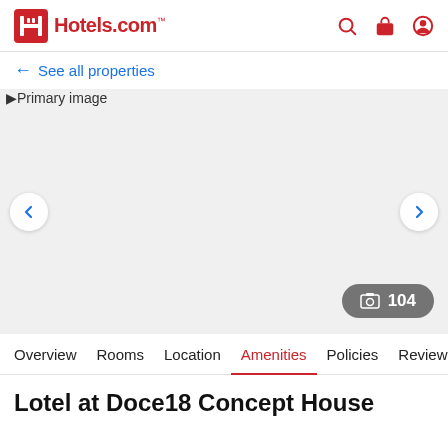Hotels.com
← See all properties
[Figure (photo): Primary image placeholder for hotel photo carousel with navigation arrows and photo count badge showing 104 photos]
Overview  Rooms  Location  Amenities  Policies  Reviews
Lotel at Doce18 Concept House